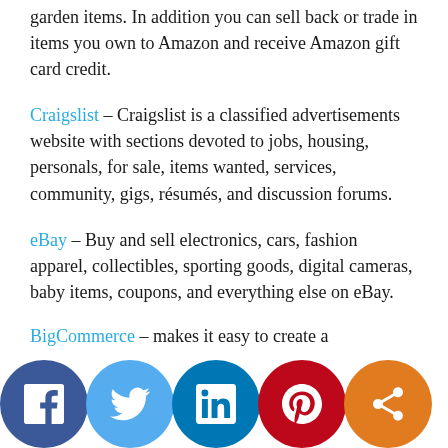garden items. In addition you can sell back or trade in items you own to Amazon and receive Amazon gift card credit.
Craigslist – Craigslist is a classified advertisements website with sections devoted to jobs, housing, personals, for sale, items wanted, services, community, gigs, résumés, and discussion forums.
eBay – Buy and sell electronics, cars, fashion apparel, collectibles, sporting goods, digital cameras, baby items, coupons, and everything else on eBay.
BigCommerce – makes it easy to create a
[Figure (other): Social sharing buttons bar: Facebook (dark blue circle with f), Twitter (light blue circle with bird), LinkedIn (blue circle with in), Pinterest (red circle with P), Share (orange circle with share icon)]